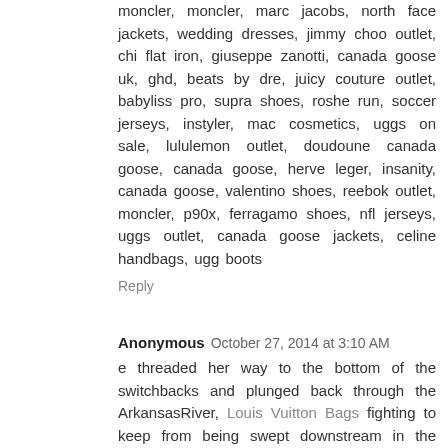moncler, moncler, marc jacobs, north face jackets, wedding dresses, jimmy choo outlet, chi flat iron, giuseppe zanotti, canada goose uk, ghd, beats by dre, juicy couture outlet, babyliss pro, supra shoes, roshe run, soccer jerseys, instyler, mac cosmetics, uggs on sale, lululemon outlet, doudoune canada goose, canada goose, herve leger, insanity, canada goose, valentino shoes, reebok outlet, moncler, p90x, ferragamo shoes, nfl jerseys, uggs outlet, canada goose jackets, celine handbags, ugg boots
Reply
Anonymous October 27, 2014 at 3:10 AM
e threaded her way to the bottom of the switchbacks and plunged back through the ArkansasRiver, Louis Vuitton Bags fighting to keep from being swept downstream in the waist-deep water. It was 2:31 p.m.
Reply
Unknown May 13, 2015 at 6:32 AM